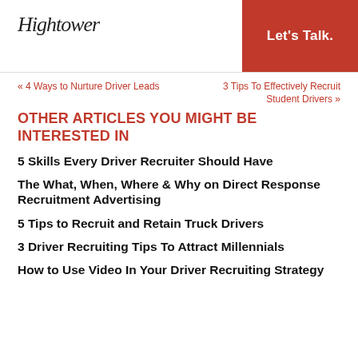Hightower | Let's Talk.
« 4 Ways to Nurture Driver Leads    3 Tips To Effectively Recruit Student Drivers »
OTHER ARTICLES YOU MIGHT BE INTERESTED IN
5 Skills Every Driver Recruiter Should Have
The What, When, Where & Why on Direct Response Recruitment Advertising
5 Tips to Recruit and Retain Truck Drivers
3 Driver Recruiting Tips To Attract Millennials
How to Use Video In Your Driver Recruiting Strategy